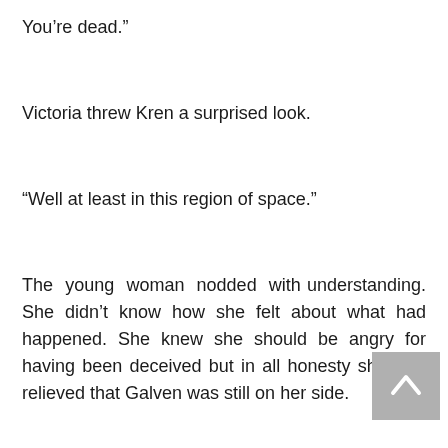You’re dead.”
Victoria threw Kren a surprised look.
“Well at least in this region of space.”
The young woman nodded with understanding. She didn’t know how she felt about what had happened. She knew she should be angry for having been deceived but in all honesty she was relieved that Galven was still on her side.